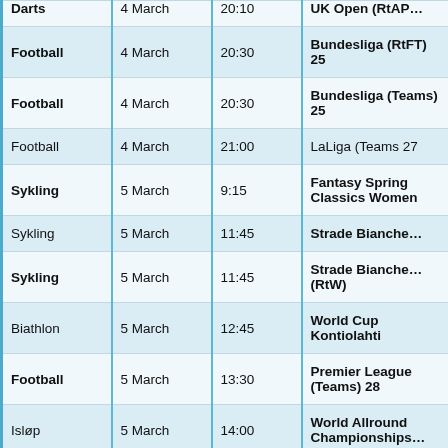| Sport | Date | Time | Event |
| --- | --- | --- | --- |
| Darts | 4 March | 20:10 | UK Open (RtAP… |
| Football | 4 March | 20:30 | Bundesliga (RtFT) 25 |
| Football | 4 March | 20:30 | Bundesliga (Teams) 25 |
| Football | 4 March | 21:00 | LaLiga (Teams 27 |
| Sykling | 5 March | 9:15 | Fantasy Spring Classics Women |
| Sykling | 5 March | 11:45 | Strade Bianche… |
| Sykling | 5 March | 11:45 | Strade Bianche… (RtW) |
| Biathlon | 5 March | 12:45 | World Cup Kontiolahti |
| Football | 5 March | 13:30 | Premier League (Teams) 28 |
| Isløp | 5 March | 14:00 | World Allround Championships… |
| Football | 5 March | 15:00 | Serie A (Teams 28 |